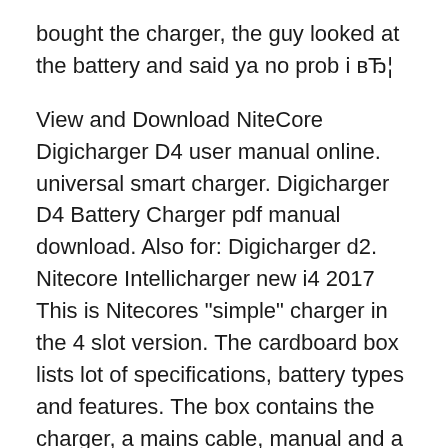bought the charger, the guy looked at the battery and said ya no prob i вЂ¦
View and Download NiteCore Digicharger D4 user manual online. universal smart charger. Digicharger D4 Battery Charger pdf manual download. Also for: Digicharger d2. Nitecore Intellicharger new i4 2017 This is Nitecores "simple" charger in the 4 slot version. The cardboard box lists lot of specifications, battery types and features. The box contains the charger, a mains cable, manual and a warranty card. The charger has two power connectors, one for mains input (100-250VAC 50/60Hz) and one for 9-12 VDC input.
Nitecore New i4 Intellicharger 4 Bay Charger